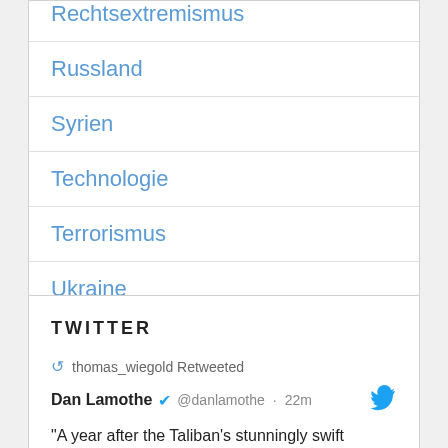Rechtsextremismus
Russland
Syrien
Technologie
Terrorismus
Ukraine
Waffen für die Welt
Weltraum
TWITTER
thomas_wiegold Retweeted
Dan Lamothe @danlamothe · 22m
"A year after the Taliban's stunningly swift